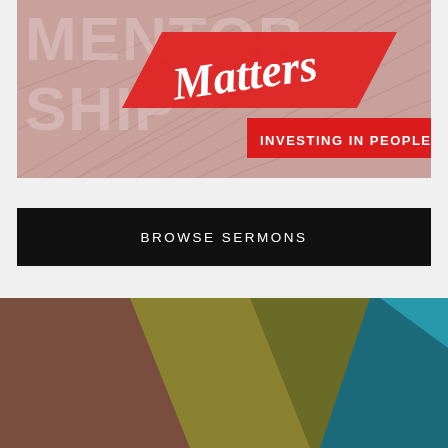[Figure (illustration): Mentorship Matters - Investing in People graphic with architectural staircase background in pink/salmon tones, large text 'MENTORSHIP' behind, italic script 'Matters' in white on red banner, and red banner 'INVESTING IN PEOPLE' in bold white caps]
BROWSE SERMONS
[Figure (illustration): Abstract colorful diagonal stripe image with brown, olive/yellow-green, and teal/blue sections visible at bottom of page]